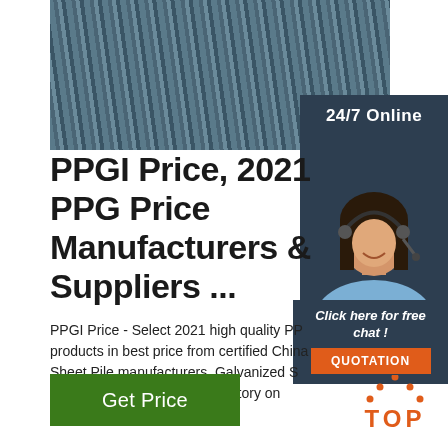[Figure (photo): Steel rods/rebar bundle viewed from end, dark blue-gray metallic color]
24/7 Online
[Figure (photo): Woman with headset smiling, customer service representative]
Click here for free chat !
QUOTATION
PPGI Price, 2021 PPG Price Manufacturers & Suppliers ...
PPGI Price - Select 2021 high quality PP products in best price from certified China Sheet Pile manufacturers, Galvanized S suppliers, wholesalers and factory on Made-In-China.com
[Figure (illustration): Green Get Price button]
[Figure (logo): TOP logo in orange with triangle dots above]